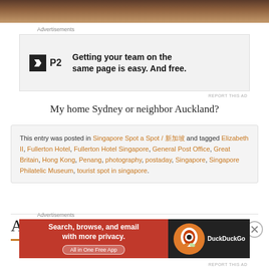[Figure (photo): Bottom of a dark circular object on a wooden surface — partial photo strip at top of page]
Advertisements
[Figure (infographic): P2 advertisement: Getting your team on the same page is easy. And free.]
REPORT THIS AD
My home Sydney or neighbor Auckland?
This entry was posted in Singapore Spot a Spot / 新加坡 and tagged Elizabeth II, Fullerton Hotel, Fullerton Hotel Singapore, General Post Office, Great Britain, Hong Kong, Penang, photography, postaday, Singapore, Singapore Philatelic Museum, tourist spot in singapore.
Add One Grain A Day
Advertisements
[Figure (infographic): DuckDuckGo advertisement: Search, browse, and email with more privacy. All in One Free App]